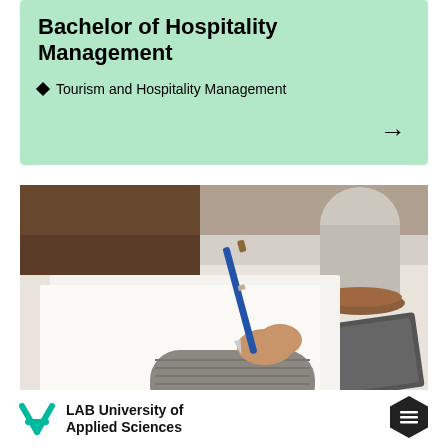Bachelor of Hospitality Management
Tourism and Hospitality Management
[Figure (photo): Close-up of a hand holding a blue pen writing on paper at a desk, with a notebook and a cup in the background.]
[Figure (logo): LAB University of Applied Sciences logo with teal X icon and text 'LAB University of Applied Sciences']
[Figure (other): Dark hexagonal menu button icon in bottom right corner]